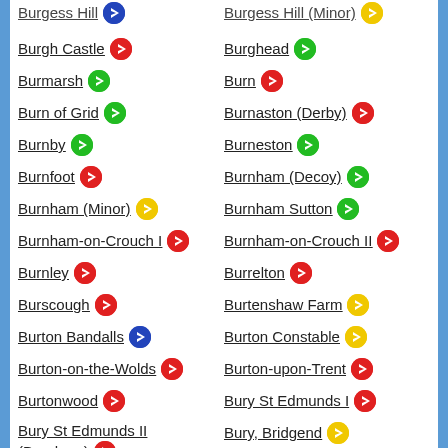Burgh Castle
Burghead
Burmarsh
Burn
Burn of Grid
Burnaston (Derby)
Burnby
Burneston
Burnfoot
Burnham (Decoy)
Burnham (Minor)
Burnham Sutton
Burnham-on-Crouch I
Burnham-on-Crouch II
Burnley
Burrelton
Burscough
Burtenshaw Farm
Burton Bandalls
Burton Constable
Burton-on-the-Wolds
Burton-upon-Trent
Burtonwood
Bury St Edmunds I
Bury St Edmunds II (Barnham)
Bury, Bridgend